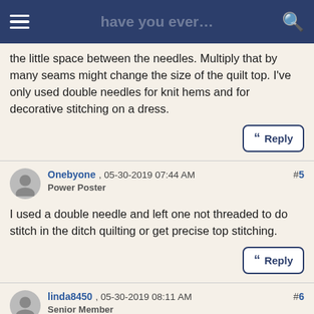have you ever…
the little space between the needles. Multiply that by many seams might change the size of the quilt top. I've only used double needles for knit hems and for decorative stitching on a dress.
" Reply
Onebyone , 05-30-2019 07:44 AM
Power Poster
#5
I used a double needle and left one not threaded to do stitch in the ditch quilting or get precise top stitching.
" Reply
linda8450 , 05-30-2019 08:11 AM
Senior Member
#6
I use them for sewing all the time. Love the effect (can mimic a coverstitch hem quite well) and the little "bump" in